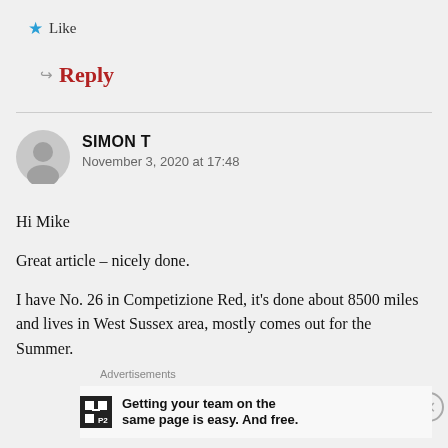★ Like
↪ Reply
SIMON T
November 3, 2020 at 17:48
Hi Mike
Great article – nicely done.
I have No. 26 in Competizione Red, it's done about 8500 miles and lives in West Sussex area, mostly comes out for the Summer.
Advertisements
Getting your team on the same page is easy. And free.